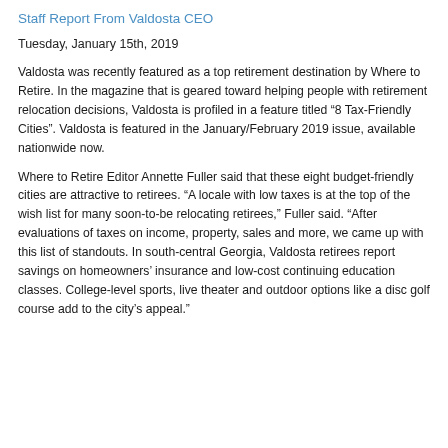Staff Report From Valdosta CEO
Tuesday, January 15th, 2019
Valdosta was recently featured as a top retirement destination by Where to Retire. In the magazine that is geared toward helping people with retirement relocation decisions, Valdosta is profiled in a feature titled “8 Tax-Friendly Cities”. Valdosta is featured in the January/February 2019 issue, available nationwide now.
Where to Retire Editor Annette Fuller said that these eight budget-friendly cities are attractive to retirees. “A locale with low taxes is at the top of the wish list for many soon-to-be relocating retirees,” Fuller said. “After evaluations of taxes on income, property, sales and more, we came up with this list of standouts. In south-central Georgia, Valdosta retirees report savings on homeowners’ insurance and low-cost continuing education classes. College-level sports, live theater and outdoor options like a disc golf course add to the city’s appeal.”